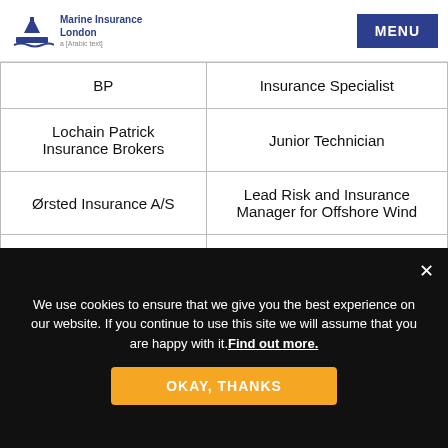Marine Insurance London | MENU
| BP | Insurance Specialist |
| Lochain Patrick Insurance Brokers | Junior Technician |
| Ørsted Insurance A/S | Lead Risk and Insurance Manager for Offshore Wind |
| TUV SUD Global Risk Consultants | Managing Consultant |
We use cookies to ensure that we give you the best experience on our website. If you continue to use this site we will assume that you are happy with it. Find out more.
OKAY, THANKS